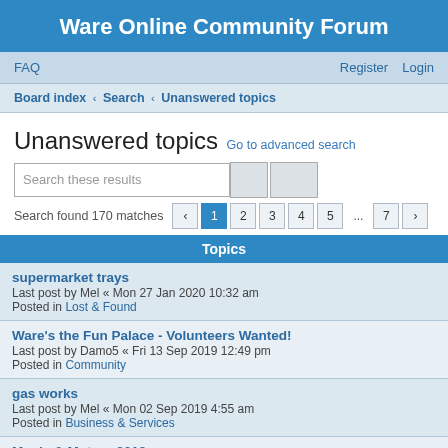Ware Online Community Forum
FAQ   Register   Login
Board index < Search < Unanswered topics
Unanswered topics
Go to advanced search
Search these results
Search found 170 matches   < 1 2 3 4 5 ... 7 >
Topics
supermarket trays
Last post by Mel « Mon 27 Jan 2020 10:32 am
Posted in Lost & Found
Ware's the Fun Palace - Volunteers Wanted!
Last post by Damo5 « Fri 13 Sep 2019 12:49 pm
Posted in Community
gas works
Last post by Mel « Mon 02 Sep 2019 4:55 am
Posted in Business & Services
Music & Motors 2019
Last post by ...